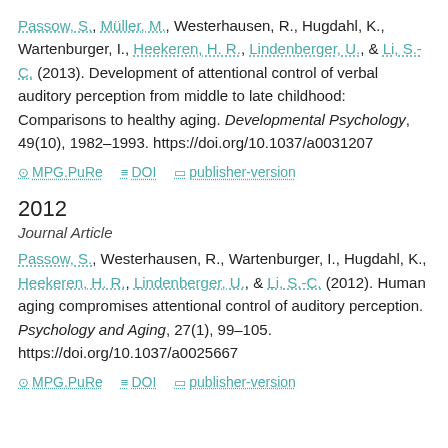Passow, S., Müller, M., Westerhausen, R., Hugdahl, K., Wartenburger, I., Heekeren, H. R., Lindenberger, U., & Li, S.-C. (2013). Development of attentional control of verbal auditory perception from middle to late childhood: Comparisons to healthy aging. Developmental Psychology, 49(10), 1982–1993. https://doi.org/10.1037/a0031207
MPG.PuRe   DOI   publisher-version
2012
Journal Article
Passow, S., Westerhausen, R., Wartenburger, I., Hugdahl, K., Heekeren, H. R., Lindenberger, U., & Li, S.-C. (2012). Human aging compromises attentional control of auditory perception. Psychology and Aging, 27(1), 99–105. https://doi.org/10.1037/a0025667
MPG.PuRe   DOI   publisher-version